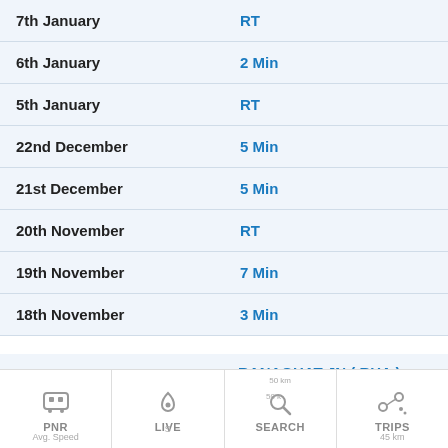| Date | Status |
| --- | --- |
| 7th January | RT |
| 6th January | 2 Min |
| 5th January | RT |
| 22nd December | 5 Min |
| 21st December | 5 Min |
| 20th November | RT |
| 19th November | 7 Min |
| 18th November | 3 Min |
|  |  |
| --- | --- |
| Current Location of the Train (7th January) | RANAGHAT JN ( RHA )
Check Running Status |
PNR  LIVE  SEARCH  TRIPS